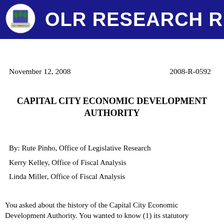OLR RESEARCH R
November 12, 2008
2008-R-0592
CAPITAL CITY ECONOMIC DEVELOPMENT AUTHORITY
By: Rute Pinho, Office of Legislative Research
Kerry Kelley, Office of Fiscal Analysis
Linda Miller, Office of Fiscal Analysis
You asked about the history of the Capital City Economic Development Authority. You wanted to know (1) its statutory